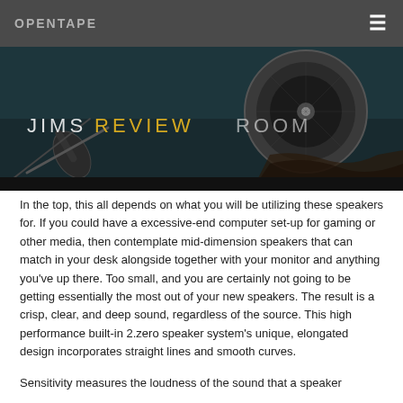OPENTAPE
[Figure (photo): Banner image showing audio equipment with text 'JIMSREVIEWROOM' overlaid — white/gold letters on dark background with a large circular speaker or record and audio cables visible.]
In the top, this all depends on what you will be utilizing these speakers for. If you could have a excessive-end computer set-up for gaming or other media, then contemplate mid-dimension speakers that can match in your desk alongside together with your monitor and anything you've up there. Too small, and you are certainly not going to be getting essentially the most out of your new speakers. The result is a crisp, clear, and deep sound, regardless of the source. This high performance built-in 2.zero speaker system's unique, elongated design incorporates straight lines and smooth curves.
Sensitivity measures the loudness of the sound that a speaker